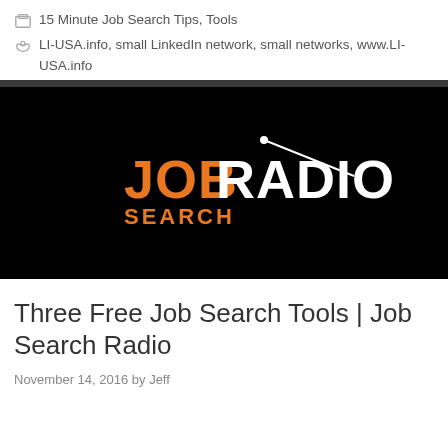15 Minute Job Search Tips, Tools
LI-USA.info, small LinkedIn network, small networks, www.LI-USA.info
[Figure (logo): Job Search Radio logo on black background — orange text 'JOB' and 'SEARCH' with white text 'RADIO' and a radio antenna graphic]
Three Free Job Search Tools | Job Search Radio
November 14, 2016 by Jeff